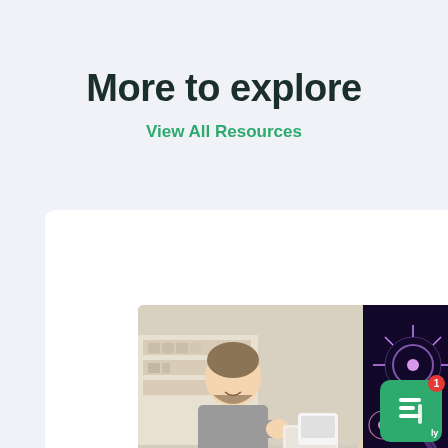More to explore
View All Resources
[Figure (photo): Photo of a smiling bearded man in gray shirt at a counter with a woman with curly hair looking at her phone]
Blog
5 Questions to Ask on
Welcome to Formstack, how can we help you today?
[Figure (photo): Partial view of fireworks on dark background]
[Figure (logo): Formstack chat widget logo in green with notification badge showing 1]